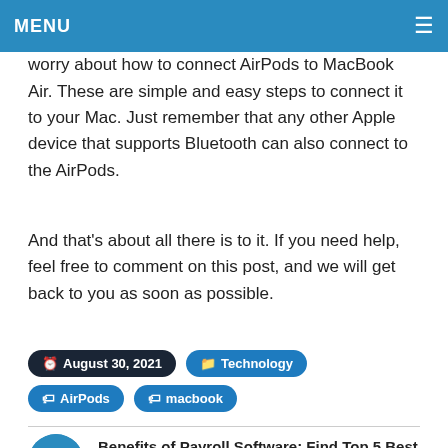MENU
So if you're a fan of the AirPods, you won't have to worry about how to connect AirPods to MacBook Air. These are simple and easy steps to connect it to your Mac. Just remember that any other Apple device that supports Bluetooth can also connect to the AirPods.
And that's about all there is to it. If you need help, feel free to comment on this post, and we will get back to you as soon as possible.
August 30, 2021   Technology   AirPods   macbook
Benefits of Payroll Software: Find Top 5 Best Payroll Software